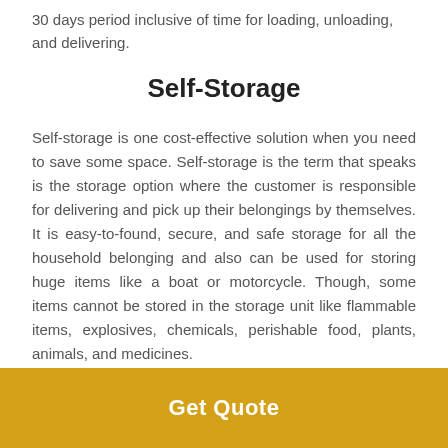30 days period inclusive of time for loading, unloading, and delivering.
Self-Storage
Self-storage is one cost-effective solution when you need to save some space. Self-storage is the term that speaks is the storage option where the customer is responsible for delivering and pick up their belongings by themselves. It is easy-to-found, secure, and safe storage for all the household belonging and also can be used for storing huge items like a boat or motorcycle. Though, some items cannot be stored in the storage unit like flammable items, explosives, chemicals, perishable food, plants, animals, and medicines.
Get Quote